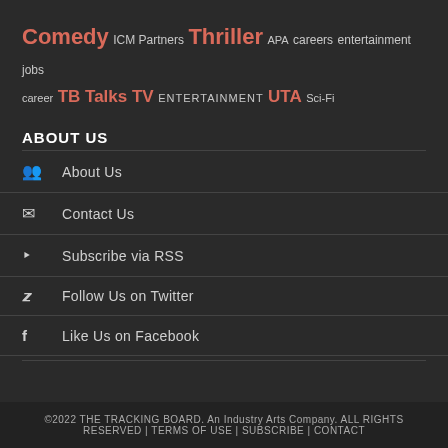Comedy ICM Partners Thriller APA careers entertainment jobs career TB Talks TV ENTERTAINMENT UTA Sci-Fi
ABOUT US
About Us
Contact Us
Subscribe via RSS
Follow Us on Twitter
Like Us on Facebook
©2022 THE TRACKING BOARD. An Industry Arts Company. ALL RIGHTS RESERVED | TERMS OF USE | SUBSCRIBE | CONTACT